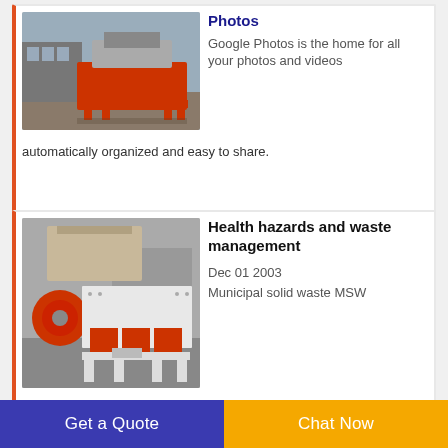[Figure (photo): Red industrial shredder machine outdoors on gravel ground with factory buildings in background]
Photos
Google Photos is the home for all your photos and videos automatically organized and easy to share.
[Figure (photo): Red and white industrial dual-shaft shredder machine indoors in factory setting]
Health hazards and waste management
Dec 01 2003
Municipal solid waste MSW
Get a Quote
Chat Now